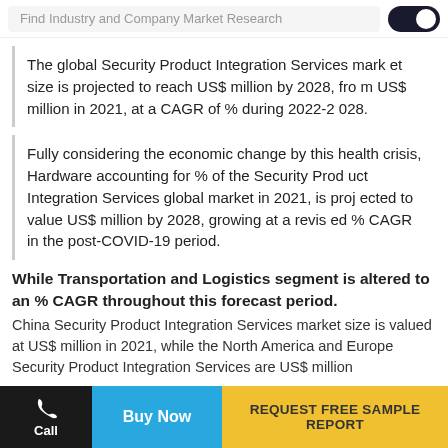Find Industry and Company Market Research
The global Security Product Integration Services market size is projected to reach US$ million by 2028, from US$ million in 2021, at a CAGR of % during 2022-2028.
Fully considering the economic change by this health crisis, Hardware accounting for % of the Security Product Integration Services global market in 2021, is projected to value US$ million by 2028, growing at a revised % CAGR in the post-COVID-19 period.
While Transportation and Logistics segment is altered to an % CAGR throughout this forecast period. China Security Product Integration Services market size is valued at US$ million in 2021, while the North America and Europe Security Product Integration Services are US$ million
Call | Buy Now | REQUEST FREE SAMPLE REPORT